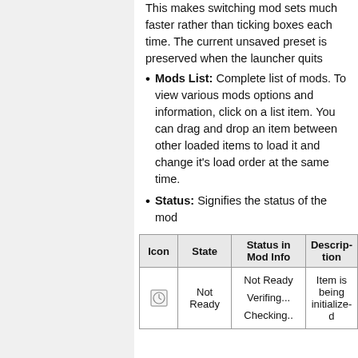This makes switching mod sets much faster rather than ticking boxes each time. The current unsaved preset is preserved when the launcher quits
Mods List: Complete list of mods. To view various mods options and information, click on a list item. You can drag and drop an item between other loaded items to load it and change it's load order at the same time.
Status: Signifies the status of the mod
| Icon | State | Status in Mod Info | Description |
| --- | --- | --- | --- |
| [clock icon] | Not Ready | Not Ready
Verifing...
Checking.. | Item is being initialized |